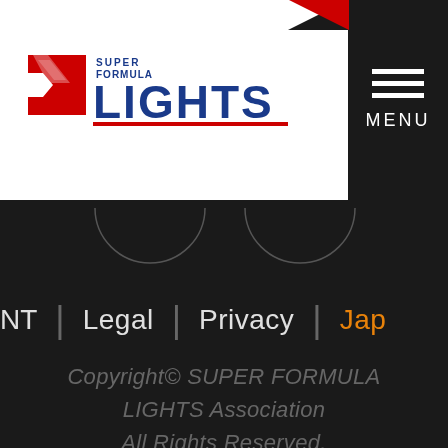[Figure (logo): Super Formula Lights logo — checkered flag X icon in red/white/blue with 'SUPER FORMULA LIGHTS' text in blue and red]
[Figure (screenshot): Black menu icon with three horizontal white lines and 'MENU' text below, on black background]
NT | Legal | Privacy | Jap
Copyright© SUPER FORMULA LIGHTS Association All Rights Reserved.